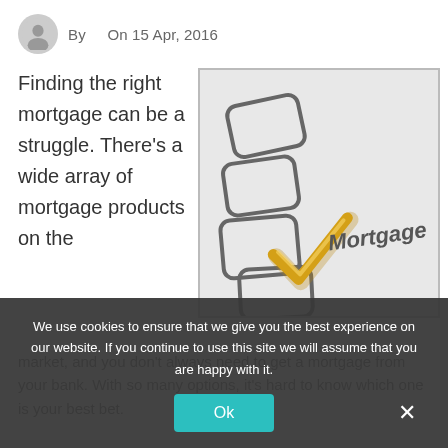By   On 15 Apr, 2016
Finding the right mortgage can be a struggle. There's a wide array of mortgage products on the market, and you don't always need to get a mortgage from your bank. With so many options, it's hard to know which one is your best bet.
[Figure (photo): A checklist with a gold checkmark next to the item labeled 'Mortgage']
We use cookies to ensure that we give you the best experience on our website. If you continue to use this site we will assume that you are happy with it.